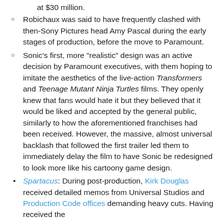at $30 million.
Robichaux was said to have frequently clashed with then-Sony Pictures head Amy Pascal during the early stages of production, before the move to Paramount.
Sonic's first, more "realistic" design was an active decision by Paramount executives, with them hoping to imitate the aesthetics of the live-action Transformers and Teenage Mutant Ninja Turtles films. They openly knew that fans would hate it but they believed that it would be liked and accepted by the general public, similarly to how the aforementioned franchises had been received. However, the massive, almost universal backlash that followed the first trailer led them to immediately delay the film to have Sonic be redesigned to look more like his cartoony game design.
Spartacus: During post-production, Kirk Douglas received detailed memos from Universal Studios and Production Code offices demanding heavy cuts. Having received the